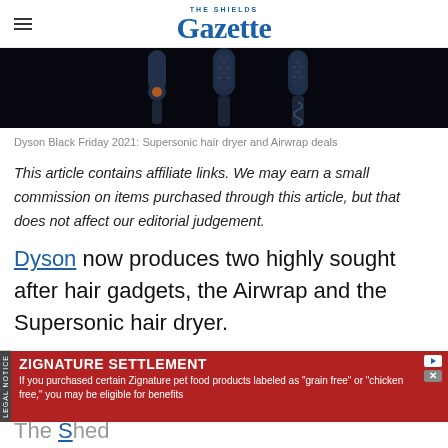THE SHIELDS Gazette
[Figure (photo): Three Dyson hair styling devices shown against a dark/black background]
Dyson Black Friday 2021: Supersonic hair dryer and Airwrap deals
This article contains affiliate links. We may earn a small commission on items purchased through this article, but that does not affect our editorial judgement.
Dyson now produces two highly sought after hair gadgets, the Airwrap and the Supersonic hair dryer.
The S...hed
[Figure (other): Advertisement banner: ZIGNATURE SETTLEMENT - If you purchased certain Zignature pet food products labeled as 'grain free' or 'chicken free,' you may be eligible for benefits. Legal notice sidebar.]